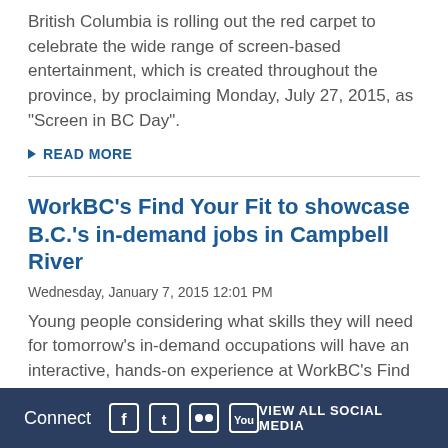British Columbia is rolling out the red carpet to celebrate the wide range of screen-based entertainment, which is created throughout the province, by proclaiming Monday, July 27, 2015, as "Screen in BC Day".
▶ READ MORE
WorkBC's Find Your Fit to showcase B.C.'s in-demand jobs in Campbell River
Wednesday, January 7, 2015 12:01 PM
Young people considering what skills they will need for tomorrow's in-demand occupations will have an interactive, hands-on experience at WorkBC's Find Your Fit tour stop at the Southgate Middle school in Campbell River on Thursday, Jan. 8.
▶ READ MORE
Connect  [Facebook] [Twitter] [Flickr] [YouTube]  VIEW ALL SOCIAL MEDIA